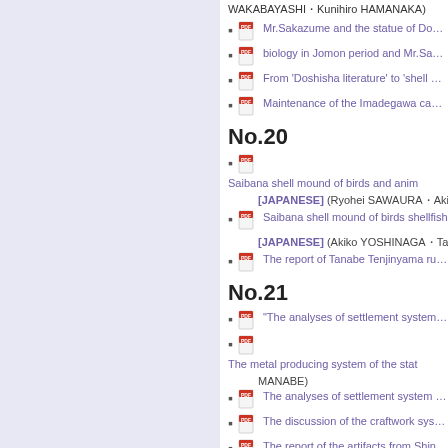WAKABAYASHI・Kunihiro HAMANAKA)
Mr.Sakazume and the statue of Doshis...
biology in Jomon period and Mr.Sakaz...
From 'Doshisha literature' to 'shell mou...
Maintenance of the Imadegawa campu...
No.20
Saibana shell mound of birds and anim... [JAPANESE] (Ryohei SAWAURA・Akiko YOSH...
Saibana shell mound of birds shellfish... [JAPANESE] (Akiko YOSHINAGA・Takao SATO...
The report of Tanabe Tenjinyama ruins...
No.21
"The analyses of settlement system fo...
The metal producing system of the sta... MANABE)
The analyses of settlement system wit...
The discussion of the craftwork system...
The report of the artifacts from Shin-Sh...
No.22
"1・Cover, Table of Contents, About the...
"2・Operation Report of Museum in 2...